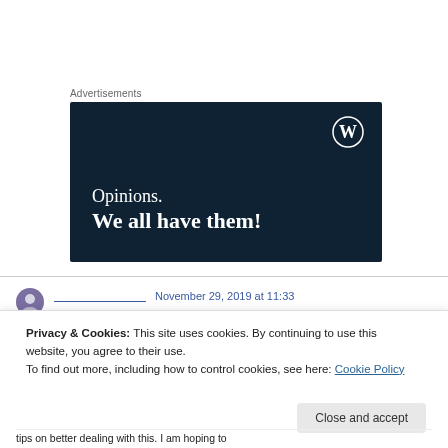Advertisements
[Figure (illustration): WordPress advertisement banner with dark navy background, WordPress logo (circle W) in top right, text reading 'Opinions. We all have them!' in white serif font]
[Figure (illustration): Partial view of a comment section with a user avatar and blue link text showing a username and date (November 29, 2019 at 11:33)]
Privacy & Cookies: This site uses cookies. By continuing to use this website, you agree to their use.
To find out more, including how to control cookies, see here: Cookie Policy
Close and accept
tips on better dealing with this. I am hoping to